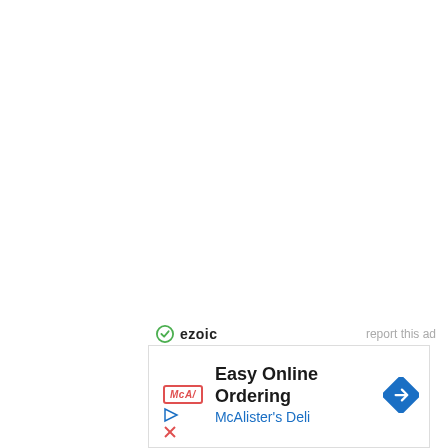[Figure (logo): Ezoic logo with green circular icon and dark bold text 'ezoic', with 'report this ad' text on the right]
[Figure (infographic): Advertisement box for McAlister's Deli featuring Easy Online Ordering with McAlister's Deli branding, red-bordered logo, blue navigation arrow icon, and play/close controls]